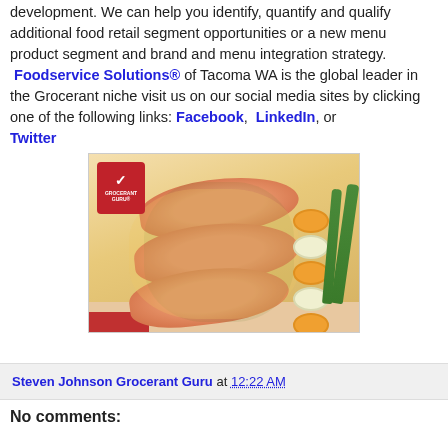development. We can help you identify, quantify and qualify additional food retail segment opportunities or a new menu product segment and brand and menu integration strategy. Foodservice Solutions® of Tacoma WA is the global leader in the Grocerant niche visit us on our social media sites by clicking one of the following links: Facebook, LinkedIn, or Twitter
[Figure (photo): Photo of cooked salmon fillets with herbs and cream sauce, garnished with alternating orange carrot slices and white vegetable slices, with green asparagus spears. Grocerant Guru logo badge in top-left corner.]
Steven Johnson Grocerant Guru at 12:22 AM
No comments: